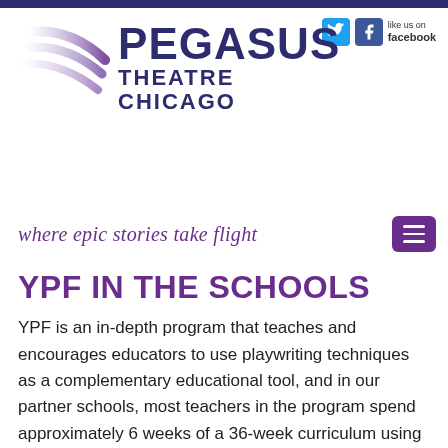[Figure (logo): Pegasus Theatre Chicago logo with purple wing swoosh graphic and text 'PEGASUS THEATRE CHICAGO']
where epic stories take flight
YPF IN THE SCHOOLS
YPF is an in-depth program that teaches and encourages educators to use playwriting techniques as a complementary educational tool, and in our partner schools, most teachers in the program spend approximately 6 weeks of a 36-week curriculum using these tools.